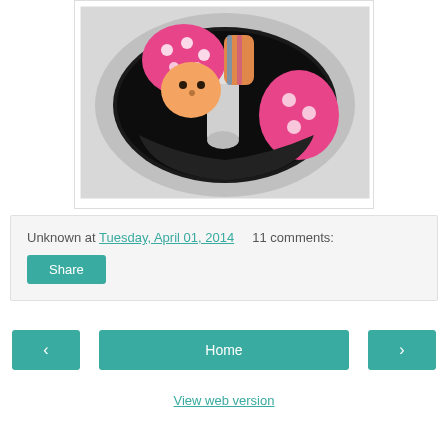[Figure (photo): A stuffed toy doll with pink polka-dot hat and orange face inside a top-loading washing machine drum]
Unknown at Tuesday, April 01, 2014     11 comments:
Share
‹
Home
›
View web version